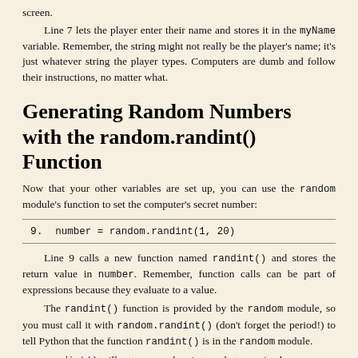screen.
Line 7 lets the player enter their name and stores it in the myName variable. Remember, the string might not really be the player's name; it's just whatever string the player types. Computers are dumb and follow their instructions, no matter what.
Generating Random Numbers with the random.randint() Function
Now that your other variables are set up, you can use the random module's function to set the computer's secret number:
9.  number = random.randint(1, 20)
Line 9 calls a new function named randint() and stores the return value in number. Remember, function calls can be part of expressions because they evaluate to a value.
The randint() function is provided by the random module, so you must call it with random.randint() (don't forget the period!) to tell Python that the function randint() is in the random module.
randint() will return a random integer between (and